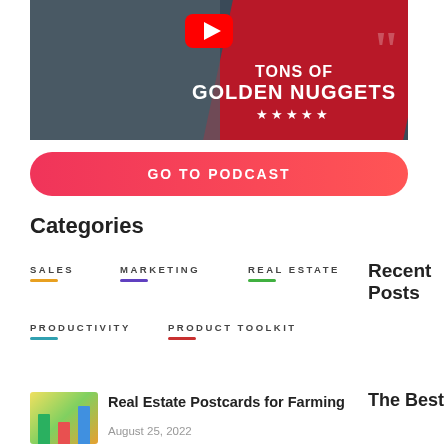[Figure (screenshot): YouTube video thumbnail showing a man smiling with text 'TONS OF GOLDEN NUGGETS' and five stars on a dark/red background]
GO TO PODCAST
Categories
SALES
MARKETING
REAL ESTATE
PRODUCTIVITY
PRODUCT TOOLKIT
Recent Posts
The Best
[Figure (photo): Thumbnail image of colorful bar chart books]
Real Estate Postcards for Farming
August 25, 2022